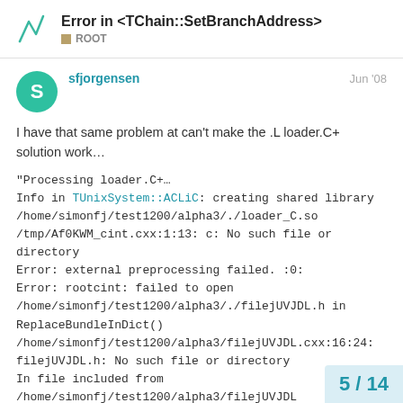Error in <TChain::SetBranchAddress> — ROOT
sfjorgensen — Jun '08
I have that same problem at can't make the .L loader.C+ solution work…
"Processing loader.C+…
Info in TUnixSystem::ACLiC: creating shared library /home/simonfj/test1200/alpha3/./loader_C.so
/tmp/Af0KWM_cint.cxx:1:13: c: No such file or directory
Error: external preprocessing failed. :0:
Error: rootcint: failed to open /home/simonfj/test1200/alpha3/./filejUVJDL.h in ReplaceBundleInDict()
/home/simonfj/test1200/alpha3/filejUVJDL.cxx:16:24: filejUVJDL.h: No such file or directory
In file included from /home/simonfj/test1200/alpha3/filejUVJDL
5 / 14